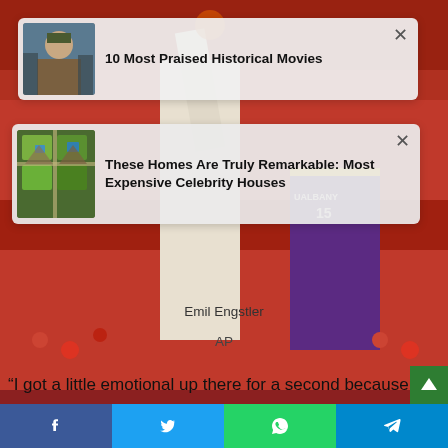[Figure (photo): Background basketball game photo showing players on court with UAlbany #15 in purple jersey and crowd in background]
[Figure (photo): Ad card 1: thumbnail of a young man in military/historical costume, advertisement for '10 Most Praised Historical Movies']
10 Most Praised Historical Movies
[Figure (photo): Ad card 2: thumbnail of aerial view of expensive homes/estates, advertisement for 'These Homes Are Truly Remarkable: Most Expensive Celebrity Houses']
These Homes Are Truly Remarkable: Most Expensive Celebrity Houses
Emil Engstler
AP
“I got a little emotional up there for a second because I thin
[Figure (infographic): Share bar with Facebook, Twitter, WhatsApp, and Telegram buttons at bottom of page]